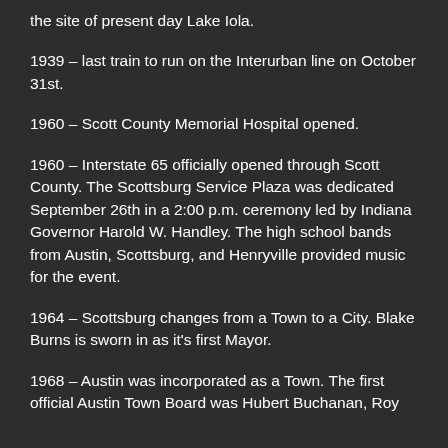the site of present day Lake Iola.
1939 – last train to run on the Interurban line on October 31st.
1960 – Scott County Memorial Hospital opened.
1960 – Interstate 65 officially opened through Scott County. The Scottsburg Service Plaza was dedicated September 26th in a 2:00 p.m. ceremony led by Indiana Governor Harold W. Handley.  The high school bands from Austin, Scottsburg, and Henryville provided music for the event.
1964 – Scottsburg changes from a Town to a City.  Blake Burns is sworn in as it's first Mayor.
1968 – Austin was incorporated as a Town. The first official Austin Town Board was Hubert Buchanan, Roy...